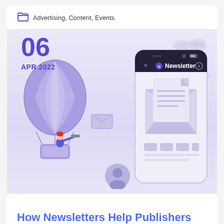Advertising, Content, Events
06
APR 2022
[Figure (illustration): Illustration of a hot air balloon with a person looking through a telescope, a floating envelope/mail icon, a smartphone showing a Newsletter app with an open envelope and document, clouds, and a user profile icon at the bottom center.]
How Newsletters Help Publishers